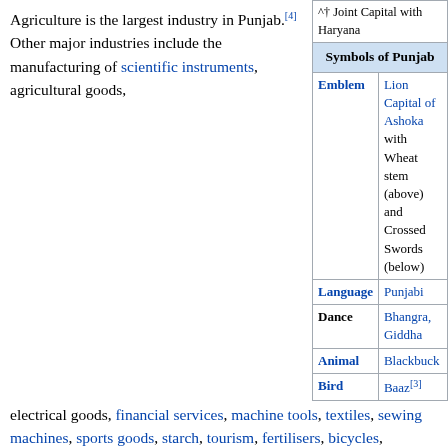| Symbol | Value |
| --- | --- |
| ^† Joint Capital with Haryana |  |
| Symbols of Punjab |  |
| Emblem | Lion Capital of Ashoka with Wheat stem (above) and Crossed Swords (below) |
| Language | Punjabi |
| Dance | Bhangra, Giddha |
| Animal | Blackbuck |
| Bird | Baaz[3] |
Agriculture is the largest industry in Punjab.[4] Other major industries include the manufacturing of scientific instruments, agricultural goods, electrical goods, financial services, machine tools, textiles, sewing machines, sports goods, starch, tourism, fertilisers, bicycles, garments, and the processing of pine oil and sugar. Punjab also has the largest number of steel rolling mill plants in India, which are located in "Steel Town"—Mandi Gobindgarh in the Fatehgarh Sahib district. It is also known for the sports hub—Jalandhar
Etymology
The word Punjab is a compound of the Persian words panj (five) and āb (waters). Thus Panjāb roughly means "the land of five